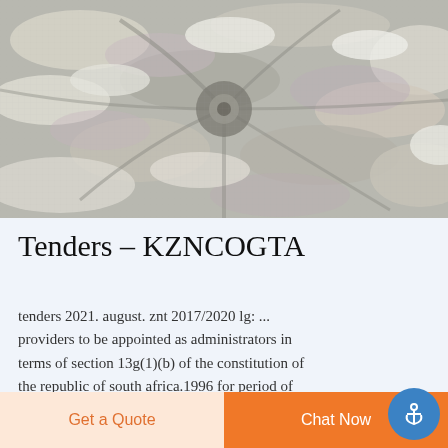[Figure (photo): Close-up photograph of camouflage fabric with a grey, white, and tan digital camouflage pattern, twisted in the center.]
Tenders – KZNCOGTA
tenders 2021. august. znt 2017/2020 lg: ... providers to be appointed as administrators in terms of section 13g(1)(b) of the constitution of the republic of south africa.1996 for period of